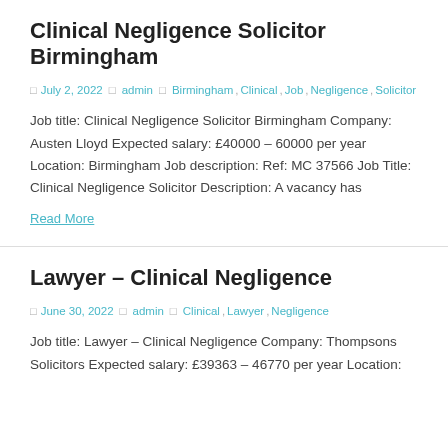Clinical Negligence Solicitor Birmingham
July 2, 2022   admin   Birmingham, Clinical, Job, Negligence, Solicitor
Job title: Clinical Negligence Solicitor Birmingham Company: Austen Lloyd Expected salary: £40000 – 60000 per year Location: Birmingham Job description: Ref: MC 37566 Job Title: Clinical Negligence Solicitor Description: A vacancy has
Read More
Lawyer – Clinical Negligence
June 30, 2022   admin   Clinical, Lawyer, Negligence
Job title: Lawyer – Clinical Negligence Company: Thompsons Solicitors Expected salary: £39363 – 46770 per year Location: